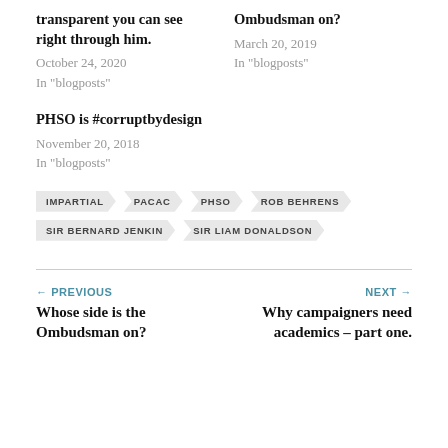transparent you can see right through him.
October 24, 2020
In "blogposts"
Ombudsman on?
March 20, 2019
In "blogposts"
PHSO is #corruptbydesign
November 20, 2018
In "blogposts"
IMPARTIAL
PACAC
PHSO
ROB BEHRENS
SIR BERNARD JENKIN
SIR LIAM DONALDSON
← PREVIOUS
Whose side is the Ombudsman on?
NEXT →
Why campaigners need academics – part one.